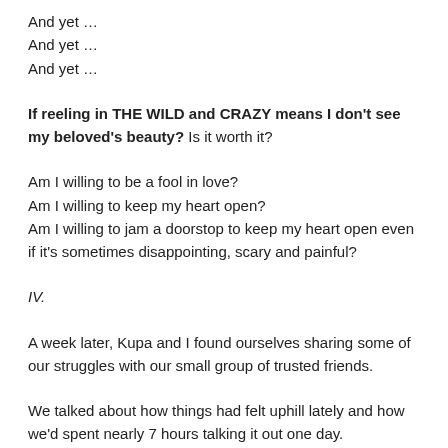And yet …
And yet …
And yet …
If reeling in THE WILD and CRAZY means I don't see my beloved's beauty? Is it worth it?
Am I willing to be a fool in love?
Am I willing to keep my heart open?
Am I willing to jam a doorstop to keep my heart open even if it's sometimes disappointing, scary and painful?
IV.
A week later, Kupa and I found ourselves sharing some of our struggles with our small group of trusted friends.
We talked about how things had felt uphill lately and how we'd spent nearly 7 hours talking it out one day.